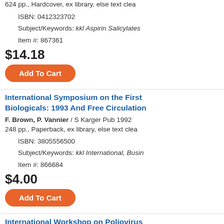624 pp., Hardcover, ex library, else text clea
ISBN: 0412323702
Subject/Keywords: kkl Aspirin Salicylates
Item #: 867361
$14.18
Add To Cart
International Symposium on the First Biologicals: 1993 And Free Circulation
F. Brown, P. Vannier / S Karger Pub 1992
248 pp., Paperback, ex library, else text clea
ISBN: 3805556500
Subject/Keywords: kkl International, Busin
Item #: 866684
$4.00
Add To Cart
International Workshop on Poliovirus Proceedings of a Workshop Held at B Biologicals 78)